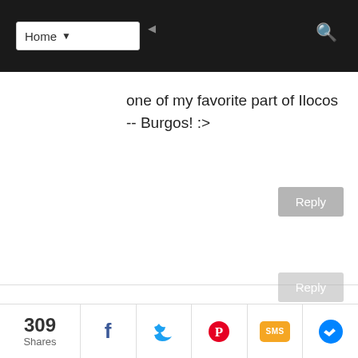Home
one of my favorite part of Ilocos -- Burgos! :>
Reply
MICAMYX | SENYORITA
September 17, 2012 at 4:09 PM
Balak kong bumalik ng Ilocos next week :D Mag-Vigan naman ako hehe
309 Shares